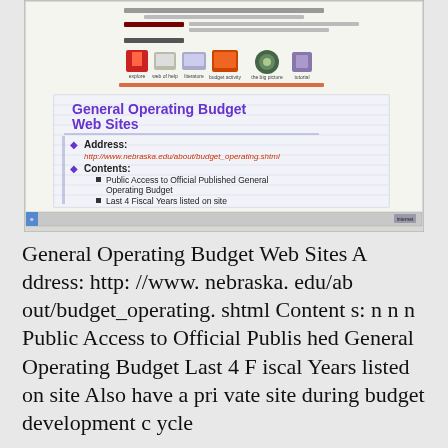[Figure (screenshot): Screenshot of a webpage/presentation slide showing General Operating Budget Web Sites with icons navigation bar at top and slide content below]
General Operating Budget Web Sites
Address:
http://www.nebraska.edu/about/budget_operating.shtml
Contents:
Public Access to Official Published General Operating Budget
Last 4 Fiscal Years listed on site
Also have a private site during budget development cycle
General Operating Budget Web Sites A ddress: http: //www. nebraska. edu/about/budget_operating. shtml Content s: n n n Public Access to Official Published General Operating Budget Last 4 F iscal Years listed on site Also have a pri vate site during budget development c ycle